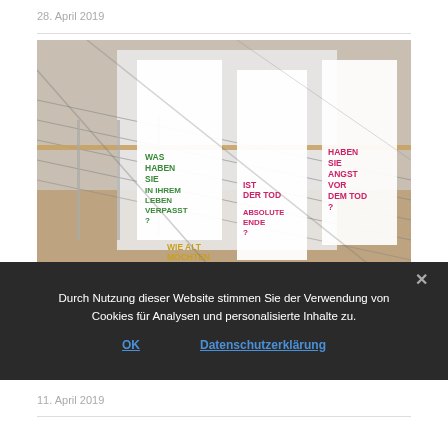28. April 2019
[Figure (photo): Interior exhibition space with glass panels displaying bold questions in German: 'WAS HABEN SIE IN IHREM LEBEN VERPASST?', 'WIE ALT MÖCHTEN SIE...', 'IST DER TOD ABSOLUTE ENDE?', 'HABEN SIE ANGST VOR DEM TOD?' Text appears in green and pink/magenta colors on white banners in a stairwell area with wooden railing and cable rails.]
Durch Nutzung dieser Website stimmen Sie der Verwendung von Cookies für Analysen und personalisierte Inhalte zu.
OK
Datenschutzerklärung
11. April 2019